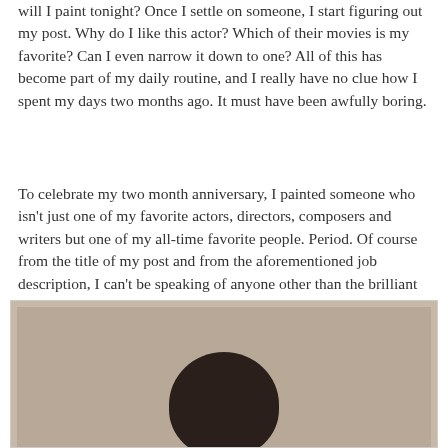will I paint tonight? Once I settle on someone, I start figuring out my post. Why do I like this actor? Which of their movies is my favorite? Can I even narrow it down to one? All of this has become part of my daily routine, and I really have no clue how I spent my days two months ago. It must have been awfully boring.
To celebrate my two month anniversary, I painted someone who isn't just one of my favorite actors, directors, composers and writers but one of my all-time favorite people. Period. Of course from the title of my post and from the aforementioned job description, I can't be speaking of anyone other than the brilliant Charlie Chaplin.
[Figure (illustration): A painting or illustration showing the top portion of a figure against a textured tan/beige background. Only the dark rounded head/hair of the subject (Charlie Chaplin) is visible at the bottom center of the image.]